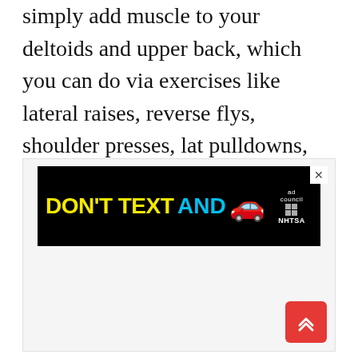simply add muscle to your deltoids and upper back, which you can do via exercises like lateral raises, reverse flys, shoulder presses, lat pulldowns, and rows.
[Figure (screenshot): Advertisement banner with black background showing 'DON'T TEXT AND' in yellow and cyan text with a red car emoji, and NHTSA / Ad Council logo in the corner. An X close button is visible. Below the banner is a white/light gray content area.]